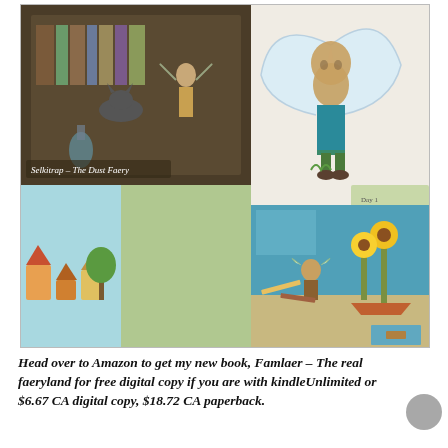[Figure (illustration): A collage illustration showing fantasy faery-themed artwork. Top left: a dark scene labeled 'Selkitrap – The Dust Faery' with books, a lab, animals, and a fairy figure. Top right: a large humanoid fairy with big wings wearing green pants and teal jacket. Bottom left: colorful illustrated village/town scenes with labels 'Day 1' and 'Day 3' and a fairy character. Bottom right: a room scene labeled 'Traefotolp – The Garden Faery' with sunflowers, a fairy, and desk items on a teal background.]
Head over to Amazon to get my new book, Famlaer – The real faeryland for free digital copy if you are with kindleUnlimited or $6.67 CA digital copy, $18.72 CA paperback.